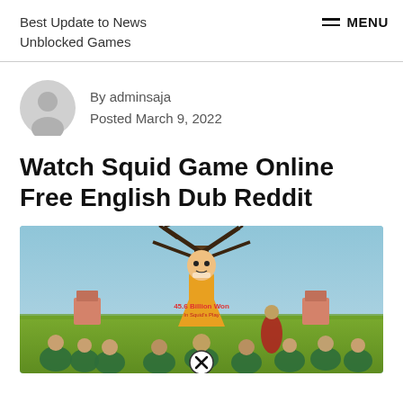Best Update to News Unblocked Games
By adminsaja
Posted March 9, 2022
Watch Squid Game Online Free English Dub Reddit
[Figure (photo): Squid Game Netflix promotional poster showing characters in green tracksuits in a field, with a large robotic doll and bare tree in the background. Red text overlay reads '45.6 Billion Won'. A circular X/close button is visible at the bottom center.]